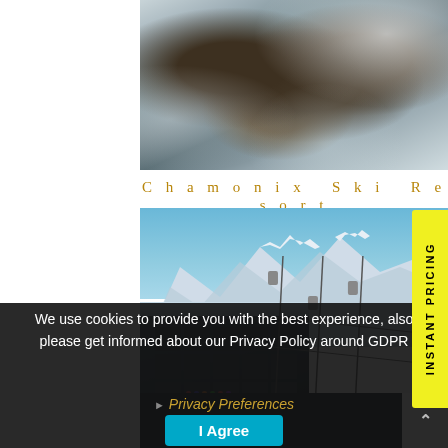[Figure (photo): Aerial view of Chamonix Ski Resort showing snow-covered buildings and mountain terrain from above]
Chamonix Ski Resort
[Figure (photo): Ground-level view of Chamonix Ski Resort showing cable car station building, chairlift cables, people on snow, and dramatic snow-capped mountain peaks against blue sky]
We use cookies to provide you with the best experience, also please get informed about our Privacy Policy around GDPR
▶ Privacy Preferences
I Agree